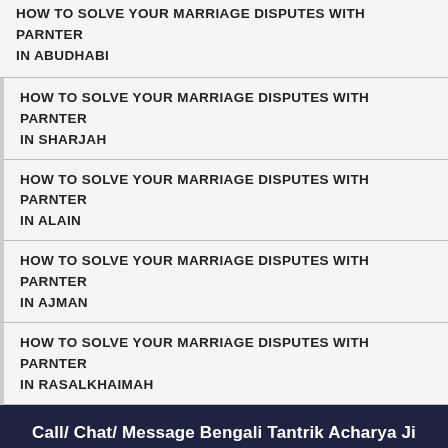HOW TO SOLVE YOUR MARRIAGE DISPUTES WITH PARNTER IN ABUDHABI
HOW TO SOLVE YOUR MARRIAGE DISPUTES WITH PARNTER IN SHARJAH
HOW TO SOLVE YOUR MARRIAGE DISPUTES WITH PARNTER IN ALAIN
HOW TO SOLVE YOUR MARRIAGE DISPUTES WITH PARNTER IN AJMAN
HOW TO SOLVE YOUR MARRIAGE DISPUTES WITH PARNTER IN RASALKHAIMAH
Call/ Chat/ Message Bengali Tantrik Acharya Ji